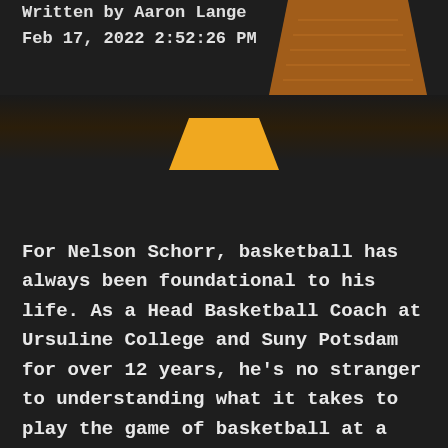Written by Aaron Lange
Feb 17, 2022 2:52:26 PM
[Figure (illustration): Decorative golden/amber trapezoid or trophy-like shape in the top right corner]
[Figure (illustration): Small golden/amber trapezoid shape used as a divider in the middle of the page]
For Nelson Schorr, basketball has always been foundational to his life. As a Head Basketball Coach at Ursuline College and Suny Potsdam for over 12 years, he's no stranger to understanding what it takes to play the game of basketball at a high level. In addition to coaching college players, Nelson also